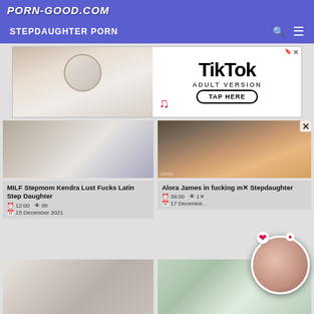PORN-GOOD.COM
STEPDAUGHTER PORN
[Figure (screenshot): TikTok Adult Version advertisement banner with TAP HERE button]
[Figure (screenshot): MILF Stepmom Kendra Lust Fucks Latin Step Daughter video thumbnail with STEPMOM label and arrow]
MILF Stepmom Kendra Lust Fucks Latin Step Daughter
12:00   99
15 December 2021
[Figure (screenshot): Alora James in fucking my Stepdaughter video thumbnail]
Alora James in fucking m... Stepdaughter
38:00   1...
17 December...
[Figure (screenshot): Third video thumbnail - couple scene]
[Figure (screenshot): Fourth video thumbnail - person in hallway]
[Figure (photo): Notification circle overlay showing adult content]